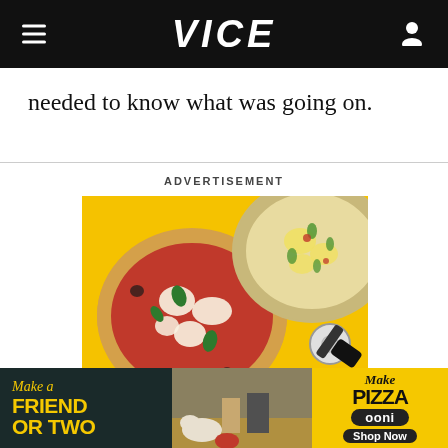VICE
needed to know what was going on.
ADVERTISEMENT
[Figure (photo): Advertisement showing two pizzas on a yellow background with a pizza cutter, promoting Ooni pizza ovens. Bottom banner reads: 'Make a FRIEND OR TWO' on dark background, center shows people outdoors with a dog, right side shows 'Make Pizza ooni Shop Now' on yellow background.]